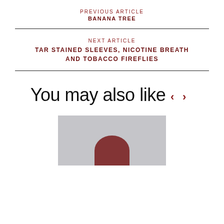PREVIOUS ARTICLE
BANANA TREE
NEXT ARTICLE
TAR STAINED SLEEVES, NICOTINE BREATH AND TOBACCO FIREFLIES
You may also like
[Figure (photo): Partial photo showing a red/auburn hair detail against a light grey background]